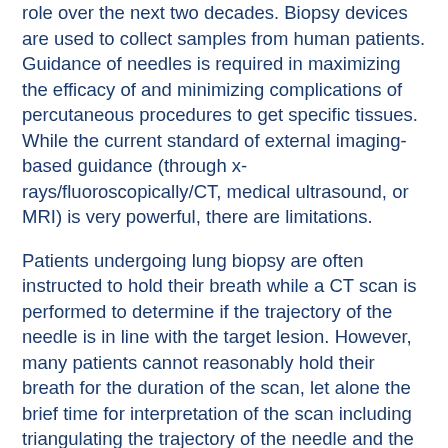role over the next two decades. Biopsy devices are used to collect samples from human patients. Guidance of needles is required in maximizing the efficacy of and minimizing complications of percutaneous procedures to get specific tissues. While the current standard of external imaging-based guidance (through x-rays/fluoroscopically/CT, medical ultrasound, or MRI) is very powerful, there are limitations.
Patients undergoing lung biopsy are often instructed to hold their breath while a CT scan is performed to determine if the trajectory of the needle is in line with the target lesion. However, many patients cannot reasonably hold their breath for the duration of the scan, let alone the brief time for interpretation of the scan including triangulating the trajectory of the needle and the target and then the time it takes for appropriate advancement of the needle to the target. During this interval from scan